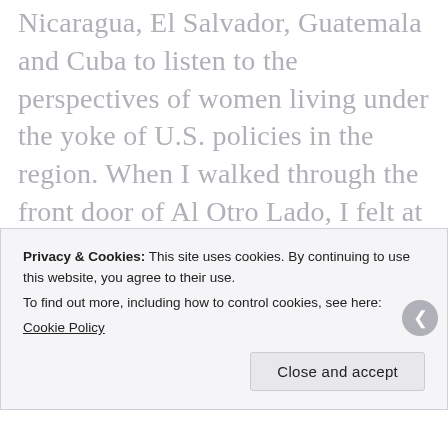Nicaragua, El Salvador, Guatemala and Cuba to listen to the perspectives of women living under the yoke of U.S. policies in the region. When I walked through the front door of Al Otro Lado, I felt at home. Even though I had missed the Monday training for volunteers, I knew just what to do. I was assigned to greet the daily flow of 50 families seeking legal counsel. Within a couple of hours, I was taking testimony for asylum seekers and translating for pro bono attorneys from the States. I remember feeling awed by the commitment of
Privacy & Cookies: This site uses cookies. By continuing to use this website, you agree to their use.
To find out more, including how to control cookies, see here:
Cookie Policy
Close and accept